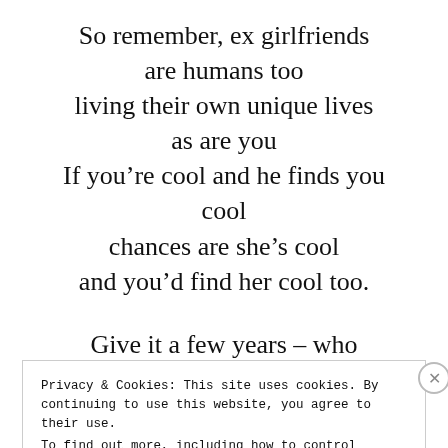So remember, ex girlfriends are humans too living their own unique lives as are you If you're cool and he finds you cool chances are she's cool and you'd find her cool too.
Give it a few years – who
Privacy & Cookies: This site uses cookies. By continuing to use this website, you agree to their use. To find out more, including how to control cookies, see here: Cookie Policy
Close and accept